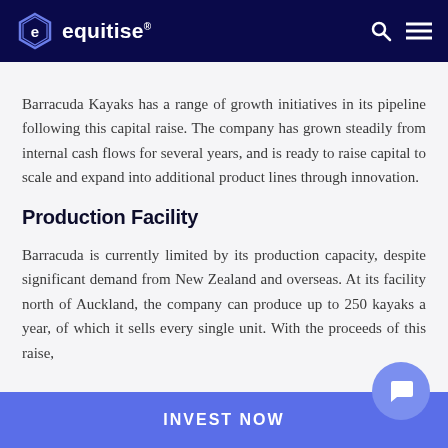equitise
Barracuda Kayaks has a range of growth initiatives in its pipeline following this capital raise. The company has grown steadily from internal cash flows for several years, and is ready to raise capital to scale and expand into additional product lines through innovation.
Production Facility
Barracuda is currently limited by its production capacity, despite significant demand from New Zealand and overseas. At its facility north of Auckland, the company can produce up to 250 kayaks a year, of which it sells every single unit. With the proceeds of this raise,
INVEST NOW